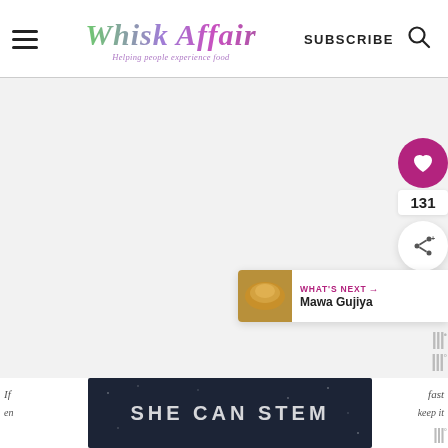Whisk Affair — Helping people experience food | SUBSCRIBE
[Figure (screenshot): Whisk Affair website screenshot showing navigation header with hamburger menu, logo, subscribe link and search icon. Below is a large white/grey blank content area. On the right side are floating action buttons: a pink heart button, count showing 131, and a share button. A 'WHAT'S NEXT → Mawa Gujiya' banner appears at bottom right. At the bottom is text overlay with 'SHE CAN STEM' dark banner.]
If fast en keep it
SHE CAN STEM